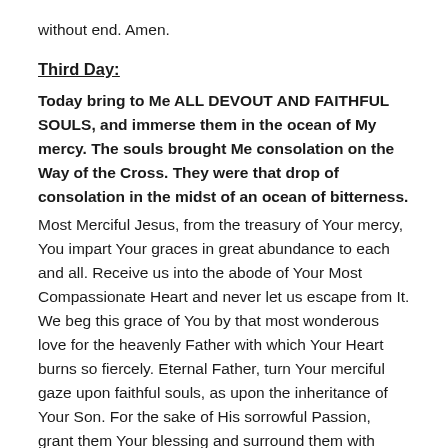without end. Amen.
Third Day:
Today bring to Me ALL DEVOUT AND FAITHFUL SOULS, and immerse them in the ocean of My mercy. The souls brought Me consolation on the Way of the Cross. They were that drop of consolation in the midst of an ocean of bitterness.
Most Merciful Jesus, from the treasury of Your mercy, You impart Your graces in great abundance to each and all. Receive us into the abode of Your Most Compassionate Heart and never let us escape from It. We beg this grace of You by that most wonderous love for the heavenly Father with which Your Heart burns so fiercely. Eternal Father, turn Your merciful gaze upon faithful souls, as upon the inheritance of Your Son. For the sake of His sorrowful Passion, grant them Your blessing and surround them with Your constant protection. Thus may they never fail in love or